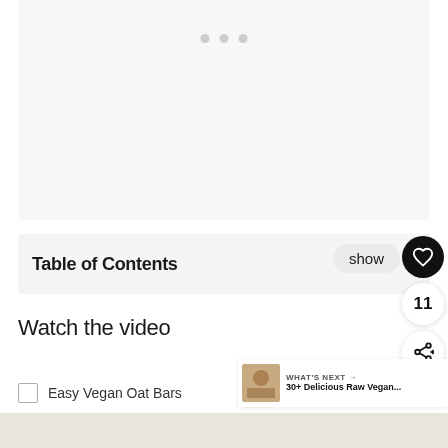[Figure (other): Light grey placeholder image area with three grey dots at the top center, indicating a loading or carousel element]
Table of Contents
show
11
Watch the video
[Figure (other): WHAT'S NEXT thumbnail with food photo and text '30+ Delicious Raw Vegan...']
Easy Vegan Oat Bars
[Figure (photo): Bottom strip showing a food image, partially visible]